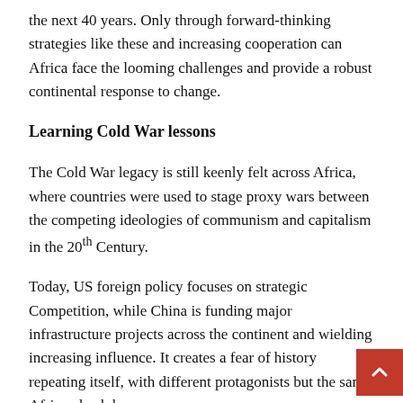the next 40 years. Only through forward-thinking strategies like these and increasing cooperation can Africa face the looming challenges and provide a robust continental response to change.
Learning Cold War lessons
The Cold War legacy is still keenly felt across Africa, where countries were used to stage proxy wars between the competing ideologies of communism and capitalism in the 20th Century.
Today, US foreign policy focuses on strategic Competition, while China is funding major infrastructure projects across the continent and wielding increasing influence. It creates a fear of history repeating itself, with different protagonists but the same African backdrop.
In his recent Foreign Affairs opinion piece Short of war: How to keep US-Chinese confrontation from ending in calamity, Asia Society